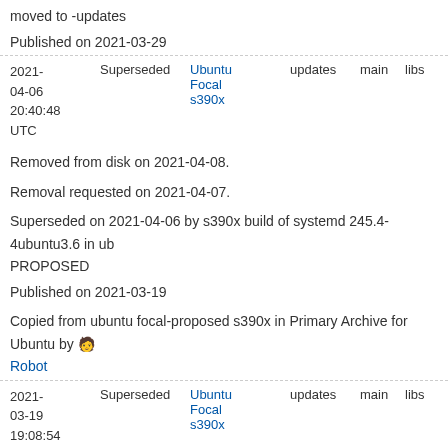moved to -updates
Published on 2021-03-29
| Date | Status | Distro | Archive | Component | Section | Priority |
| --- | --- | --- | --- | --- | --- | --- |
| 2021-04-06 20:40:48 UTC | Superseded | Ubuntu Focal s390x | updates | main | libs | Required 0 |
Removed from disk on 2021-04-08.
Removal requested on 2021-04-07.
Superseded on 2021-04-06 by s390x build of systemd 245.4-4ubuntu3.6 in ubuntu PROPOSED
Published on 2021-03-19
Copied from ubuntu focal-proposed s390x in Primary Archive for Ubuntu by Robot
| Date | Status | Distro | Archive | Component | Section | Priority |
| --- | --- | --- | --- | --- | --- | --- |
| 2021-03-19 19:08:54 UTC | Superseded | Ubuntu Focal s390x | updates | main | libs | Required 4 |
Removed from disk on 2021-04-08.
Removal requested on 2021-03-20.
Superseded on 2021-03-19 by s390x build of systemd 245.4-4ubuntu3.5 in ubuntu PROPOSED